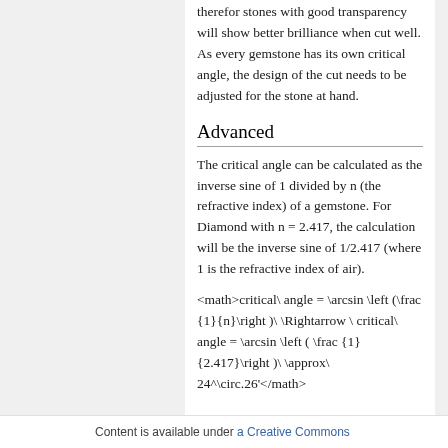therefor stones with good transparency will show better brilliance when cut well. As every gemstone has its own critical angle, the design of the cut needs to be adjusted for the stone at hand.
Advanced
The critical angle can be calculated as the inverse sine of 1 divided by n (the refractive index) of a gemstone. For Diamond with n = 2.417, the calculation will be the inverse sine of 1/2.417 (where 1 is the refractive index of air).
Content is available under a Creative Commons